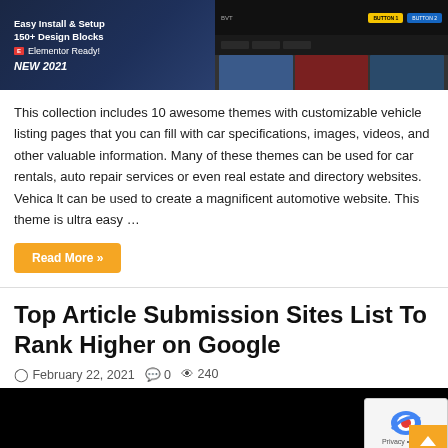[Figure (screenshot): Split promotional banner: left side shows dark blue background with text 'Easy Install & Setup', '150+ Design Blocks', 'Elementor Ready!' badge, 'NEW 2021'. Right side shows dark website UI with yellow and blue buttons, nav bar, and car thumbnail images.]
This collection includes 10 awesome themes with customizable vehicle listing pages that you can fill with car specifications, images, videos, and other valuable information. Many of these themes can be used for car rentals, auto repair services or even real estate and directory websites. Vehica lt can be used to create a magnificent automotive website. This theme is ultra easy …
Read More »
Top Article Submission Sites List To Rank Higher on Google
February 22, 2021   0   240
[Figure (screenshot): Black/dark background image at bottom of page, partially visible.]